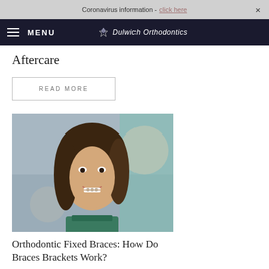Coronavirus information - [link] ×
MENU  Dulwich Orthodontics
Aftercare
READ MORE
[Figure (photo): Young woman with braces smiling, bokeh background]
Orthodontic Fixed Braces: How Do Braces Brackets Work?